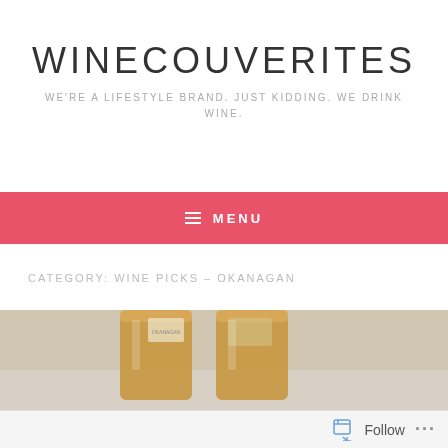WINECOUVERITES
WE'RE A LIFESTYLE BRAND. JUST KIDDING. WE DRINK WINE.
≡ MENU
CATEGORY: WINE PICKS – OKANAGAN
[Figure (photo): Two glasses of amber/orange wine viewed from above on a light surface]
Follow ...